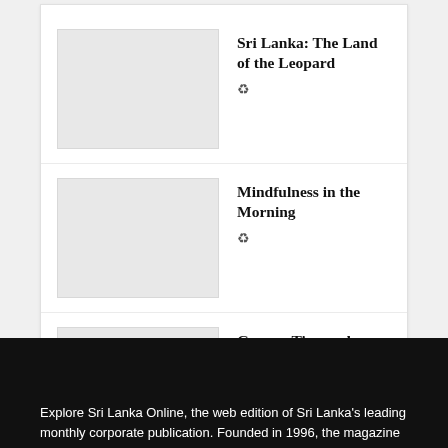Sri Lanka: The Land of the Leopard
[Figure (photo): Thumbnail placeholder image for Sri Lanka: The Land of the Leopard article]
Mindfulness in the Morning
[Figure (photo): Thumbnail placeholder image for Mindfulness in the Morning article]
Grams: Tiny and Packed with Energy
[Figure (photo): Thumbnail placeholder image for Grams: Tiny and Packed with Energy article]
Explore Sri Lanka Online, the web edition of Sri Lanka's leading monthly corporate publication. Founded in 1996, the magazine